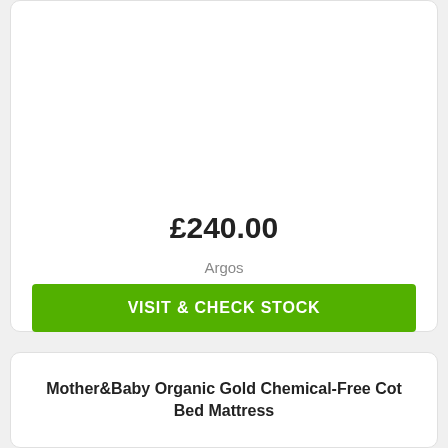£240.00
Argos
VISIT & CHECK STOCK
Mother&Baby Organic Gold Chemical-Free Cot Bed Mattress